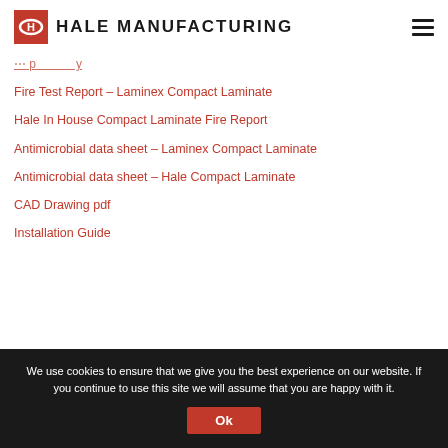HALE MANUFACTURING
Fire Test Report – Laminex Compact Laminate
Hale In House Compact Laminate Fire Report
Antimicrobial data sheet – Laminex Compact Laminate
Antimicrobial data sheet – Hale Compact Laminate
CAD Drawing pdf
Installation Guide
We use cookies to ensure that we give you the best experience on our website. If you continue to use this site we will assume that you are happy with it.